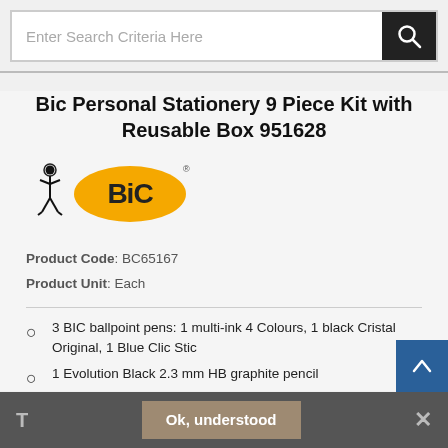Enter Search Criteria Here
Bic Personal Stationery 9 Piece Kit with Reusable Box 951628
[Figure (logo): BIC brand logo with mascot figure and yellow oval BIC badge]
Product Code: BC65167
Product Unit: Each
3 BIC ballpoint pens: 1 multi-ink 4 Colours, 1 black Cristal Original, 1 Blue Clic Stic
1 Evolution Black 2.3 mm HB graphite pencil
T  Ok, understood  ×